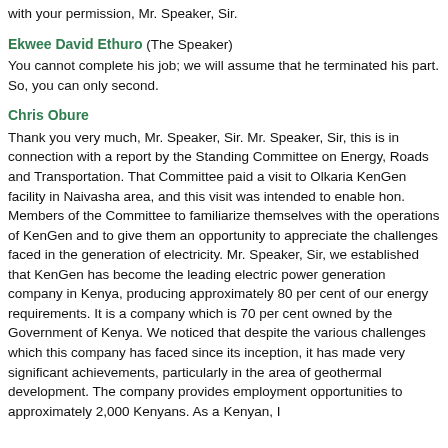with your permission, Mr. Speaker, Sir.
Ekwee David Ethuro (The Speaker)
You cannot complete his job; we will assume that he terminated his part. So, you can only second.
Chris Obure
Thank you very much, Mr. Speaker, Sir. Mr. Speaker, Sir, this is in connection with a report by the Standing Committee on Energy, Roads and Transportation. That Committee paid a visit to Olkaria KenGen facility in Naivasha area, and this visit was intended to enable hon. Members of the Committee to familiarize themselves with the operations of KenGen and to give them an opportunity to appreciate the challenges faced in the generation of electricity. Mr. Speaker, Sir, we established that KenGen has become the leading electric power generation company in Kenya, producing approximately 80 per cent of our energy requirements. It is a company which is 70 per cent owned by the Government of Kenya. We noticed that despite the various challenges which this company has faced since its inception, it has made very significant achievements, particularly in the area of geothermal development. The company provides employment opportunities to approximately 2,000 Kenyans. As a Kenyan, I